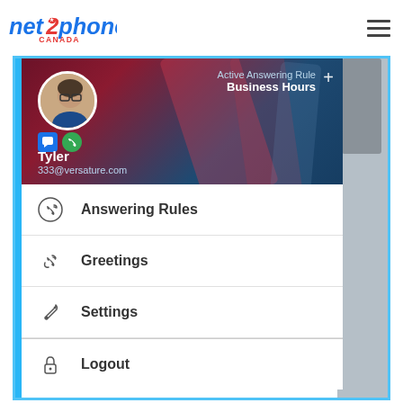[Figure (logo): net2phone CANADA logo in blue and red]
[Figure (screenshot): Mobile app UI showing net2phone Canada user profile screen with Active Answering Rule: Business Hours, user Tyler (333@versature.com), and menu items: Answering Rules, Greetings, Settings, Logout]